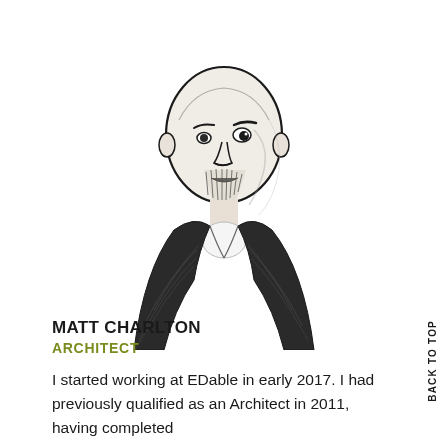[Figure (illustration): Ink sketch illustration portrait of Matt Charlton, a bald man with a beard wearing a dark jacket, drawn in black and white sketch style]
MATT CHARLTON
ARCHITECT
I started working at EDable in early 2017. I had previously qualified as an Architect in 2011, having completed
BACK TO TOP